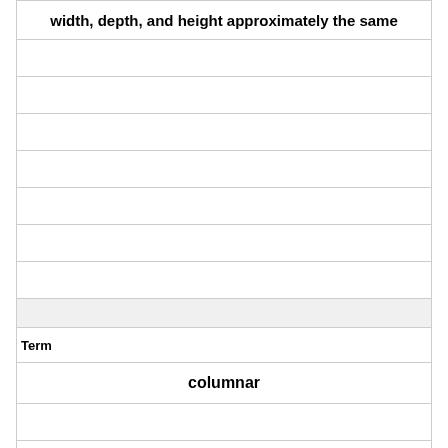| width, depth, and height approximately the same |
|  |
|  |
|  |
|  |
|  |
|  |
|  |
| Term |
| columnar |
|  |
|  |
|  |
|  |
|  |
|  |
|  |